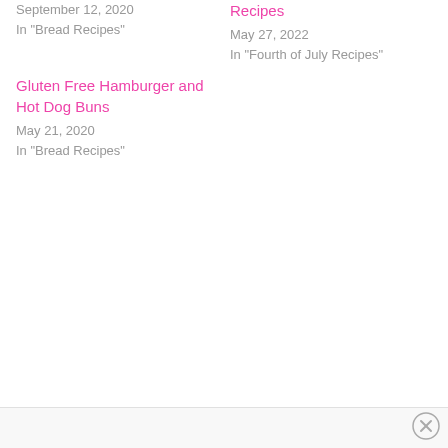September 12, 2020
In "Bread Recipes"
Recipes
May 27, 2022
In "Fourth of July Recipes"
Gluten Free Hamburger and Hot Dog Buns
May 21, 2020
In "Bread Recipes"